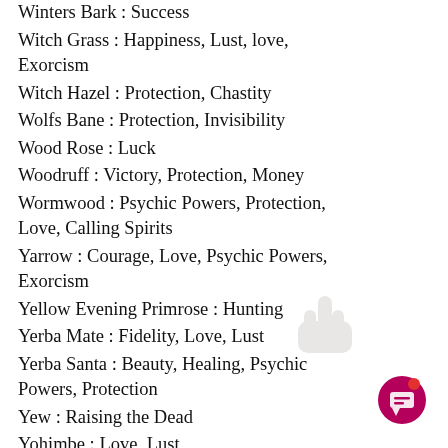Winters Bark : Success
Witch Grass : Happiness, Lust, love, Exorcism
Witch Hazel : Protection, Chastity
Wolfs Bane : Protection, Invisibility
Wood Rose : Luck
Woodruff : Victory, Protection, Money
Wormwood : Psychic Powers, Protection, Love, Calling Spirits
Yarrow : Courage, Love, Psychic Powers, Exorcism
Yellow Evening Primrose : Hunting
Yerba Mate : Fidelity, Love, Lust
Yerba Santa : Beauty, Healing, Psychic Powers, Protection
Yew : Raising the Dead
Yohimbe : Love, Lust
Yucca : Transmutation, Protection, Purification
[Figure (illustration): Decorative iridescent/holographic background on the right side of the page with purple, teal, and pink hues and a bright light spot at the top.]
[Figure (illustration): Semi-transparent hand/pointer icon overlay on the right area of the list.]
[Figure (illustration): Dark pink/magenta circular chat button icon in the bottom right corner with a notification dot.]